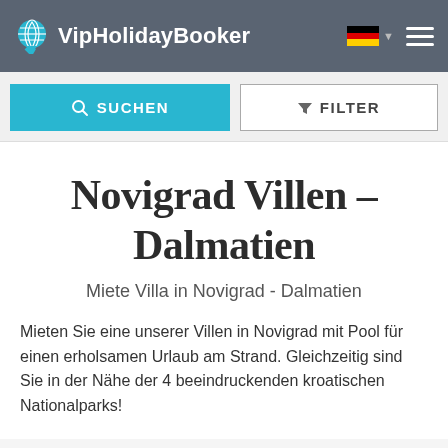VipHolidayBooker
Novigrad Villen - Dalmatien
Miete Villa in Novigrad - Dalmatien
Mieten Sie eine unserer Villen in Novigrad mit Pool für einen erholsamen Urlaub am Strand. Gleichzeitig sind Sie in der Nähe der 4 beeindruckenden kroatischen Nationalparks!